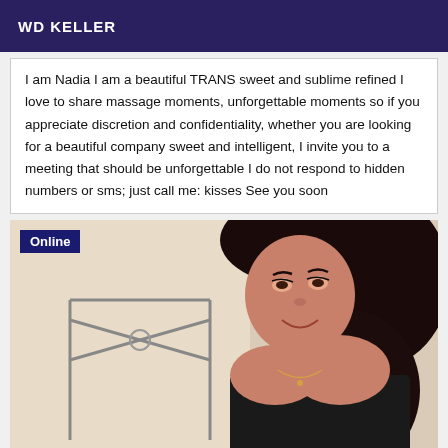WD KELLER
I am Nadia I am a beautiful TRANS sweet and sublime refined I love to share massage moments, unforgettable moments so if you appreciate discretion and confidentiality, whether you are looking for a beautiful company sweet and intelligent, I invite you to a meeting that should be unforgettable I do not respond to hidden numbers or sms; just call me: kisses See you soon
[Figure (photo): Photo of a woman with dark hair wearing a black top, smiling, with an 'Online' badge overlay in the top-left corner]